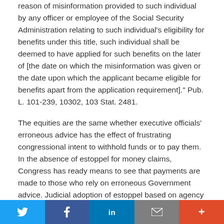reason of misinformation provided to such individual by any officer or employee of the Social Security Administration relating to such individual's eligibility for benefits under this title, such individual shall be deemed to have applied for such benefits on the later of [the date on which the misinformation was given or the date upon which the applicant became eligible for benefits apart from the application requirement]." Pub. L. 101-239, 10302, 103 Stat. 2481.
The equities are the same whether executive officials' erroneous advice has the effect of frustrating congressional intent to withhold funds or to pay them. In the absence of estoppel for money claims, Congress has ready means to see that payments are made to those who rely on erroneous Government advice. Judicial adoption of estoppel based on agency misinformation would, on the other hand, vest authority in these agents that Congress would be powerless
Twitter | Facebook | LinkedIn | Email | +